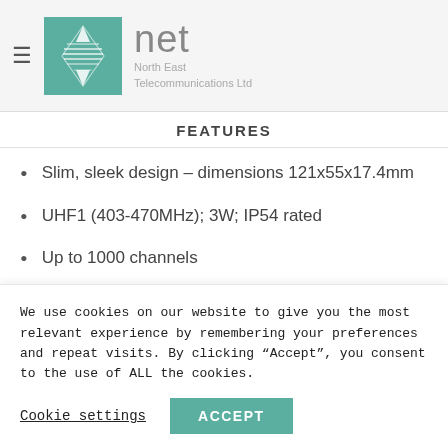net North East Telecommunications Ltd
FEATURES
Slim, sleek design – dimensions 121x55x17.4mm
UHF1 (403-470MHz); 3W; IP54 rated
Up to 1000 channels
Dual internal speakers deliver loud, clear audio quality
We use cookies on our website to give you the most relevant experience by remembering your preferences and repeat visits. By clicking “Accept”, you consent to the use of ALL the cookies.
Cookie settings | ACCEPT